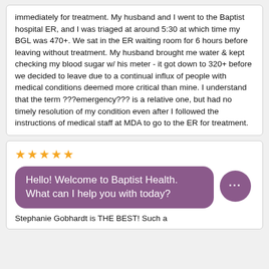immediately for treatment. My husband and I went to the Baptist hospital ER, and I was triaged at around 5:30 at which time my BGL was 470+. We sat in the ER waiting room for 6 hours before leaving without treatment. My husband brought me water & kept checking my blood sugar w/ his meter - it got down to 320+ before we decided to leave due to a continual influx of people with medical conditions deemed more critical than mine. I understand that the term ???emergency??? is a relative one, but had no timely resolution of my condition even after I followed the instructions of medical staff at MDA to go to the ER for treatment.
★★★★★
Hello! Welcome to Baptist Health. What can I help you with today?
Stephanie Gobhardt is THE BEST! Such a